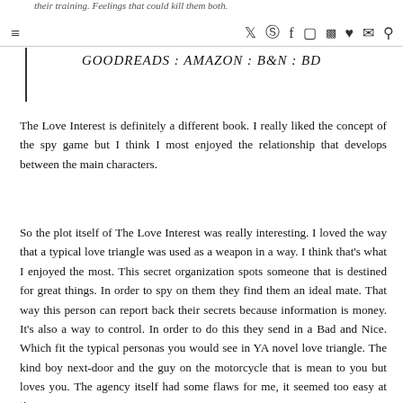their training. Feelings that could kill them both.
GOODREADS : AMAZON : B&N : BD
The Love Interest is definitely a different book. I really liked the concept of the spy game but I think I most enjoyed the relationship that develops between the main characters.
So the plot itself of The Love Interest was really interesting. I loved the way that a typical love triangle was used as a weapon in a way. I think that's what I enjoyed the most. This secret organization spots someone that is destined for great things. In order to spy on them they find them an ideal mate. That way this person can report back their secrets because information is money. It's also a way to control. In order to do this they send in a Bad and Nice. Which fit the typical personas you would see in YA novel love triangle. The kind boy next-door and the guy on the motorcycle that is mean to you but loves you. The agency itself had some flaws for me, it seemed too easy at times.